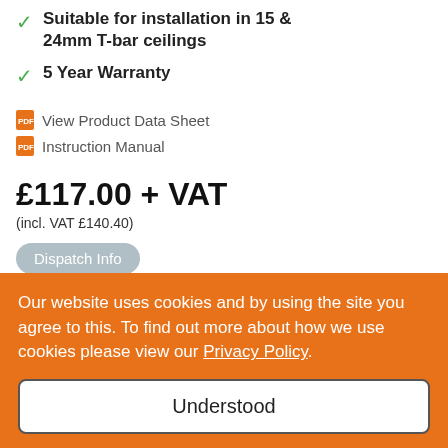Suitable for installation in 15 & 24mm T-bar ceilings
5 Year Warranty
View Product Data Sheet
Instruction Manual
£117.00 + VAT
(incl. VAT £140.40)
Dispatch Info
This product will be ordered from one of ours suppliers. The usual
Our website uses cookies and by using the site you agree to this. To find out more about how we use cookies please view our Privacy Policy.
Understood